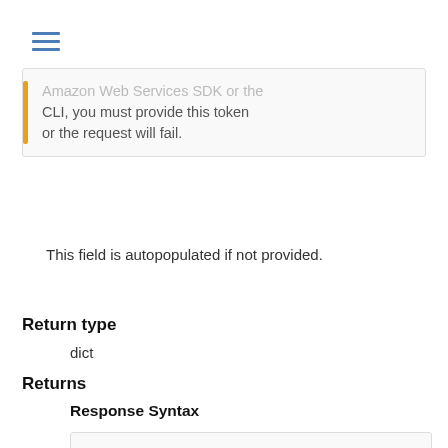[Figure (other): Hamburger menu icon (three horizontal lines)]
Amazon Web Services SDK or the CLI, you must provide this token or the request will fail.
This field is autopopulated if not provided.
Return type
dict
Returns
Response Syntax
{
    'WorkloadId': 'string',
    'MilestoneNumber': 123
}